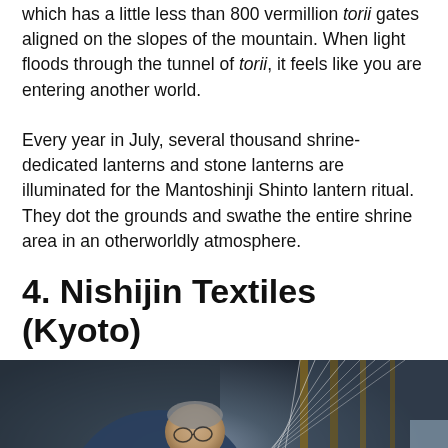which has a little less than 800 vermillion torii gates aligned on the slopes of the mountain. When light floods through the tunnel of torii, it feels like you are entering another world.

Every year in July, several thousand shrine-dedicated lanterns and stone lanterns are illuminated for the Mantoshinji Shinto lantern ritual. They dot the grounds and swathe the entire shrine area in an otherworldly atmosphere.
4. Nishijin Textiles (Kyoto)
[Figure (photo): An elderly man in blue working at a loom with threads, engaged in traditional Nishijin textile weaving in Kyoto.]
This website uses cookies.  Agree  More Info